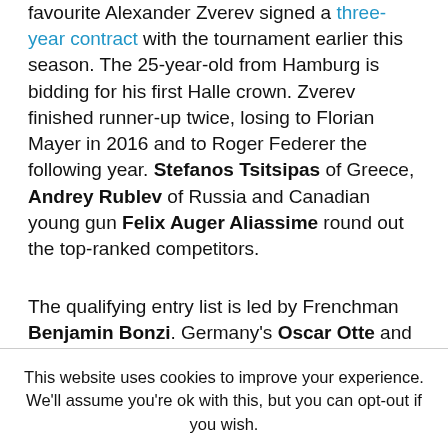favourite Alexander Zverev signed a three-year contract with the tournament earlier this season. The 25-year-old from Hamburg is bidding for his first Halle crown. Zverev finished runner-up twice, losing to Florian Mayer in 2016 and to Roger Federer the following year. Stefanos Tsitsipas of Greece, Andrey Rublev of Russia and Canadian young gun Felix Auger Aliassime round out the top-ranked competitors.
The qualifying entry list is led by Frenchman Benjamin Bonzi. Germany's Oscar Otte and Dominik Koepfer will also be part of the line-up.
This website uses cookies to improve your experience. We'll assume you're ok with this, but you can opt-out if you wish.